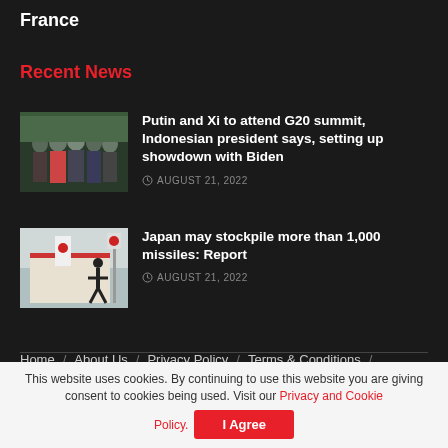France
Recent News
Putin and Xi to attend G20 summit, Indonesian president says, setting up showdown with Biden — AUGUST 21, 2022
Japan may stockpile more than 1,000 missiles: Report — AUGUST 21, 2022
Home / About Us / Privacy Policy / Terms & Conditions /
This website uses cookies. By continuing to use this website you are giving consent to cookies being used. Visit our Privacy and Cookie Policy.